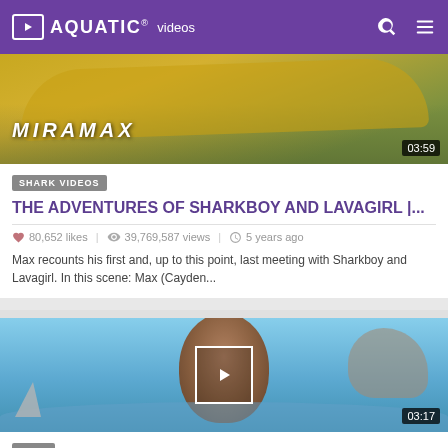AQUATIC® videos
[Figure (screenshot): Video thumbnail showing a yellow kayak with MIRAMAX text overlay, duration badge 03:59]
SHARK VIDEOS
THE ADVENTURES OF SHARKBOY AND LAVAGIRL |...
80,652 likes   39,769,587 views   5 years ago
Max recounts his first and, up to this point, last meeting with Sharkboy and Lavagirl. In this scene: Max (Cayden...
[Figure (screenshot): Video thumbnail of a man near water surface with shark fin, play button overlay, duration badge 03:17]
SURF